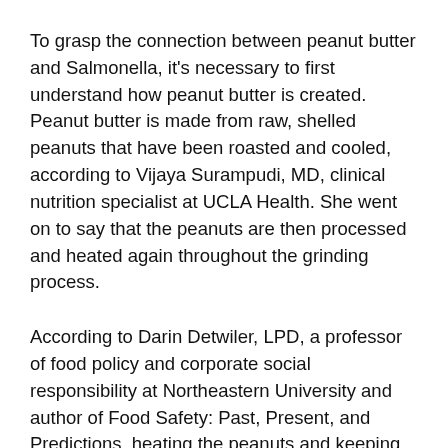To grasp the connection between peanut butter and Salmonella, it's necessary to first understand how peanut butter is created. Peanut butter is made from raw, shelled peanuts that have been roasted and cooled, according to Vijaya Surampudi, MD, clinical nutrition specialist at UCLA Health. She went on to say that the peanuts are then processed and heated again throughout the grinding process.
According to Darin Detwiler, LPD, a professor of food policy and corporate social responsibility at Northeastern University and author of Food Safety: Past, Present, and Predictions, heating the peanuts and keeping them dry is a crucial step in keeping your peanut butter secure from contamination.